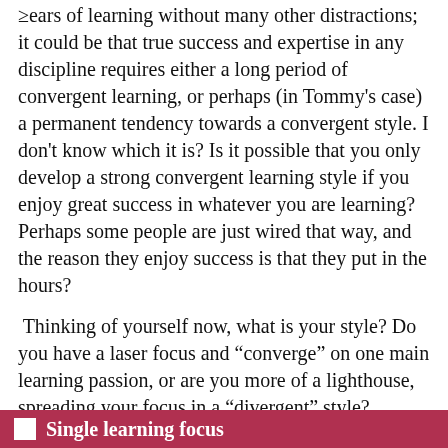years of learning without many other distractions; it could be that true success and expertise in any discipline requires either a long period of convergent learning, or perhaps (in Tommy’s case) a permanent tendency towards a convergent style. I don’t know which it is? Is it possible that you only develop a strong convergent learning style if you enjoy great success in whatever you are learning? Perhaps some people are just wired that way, and the reason they enjoy success is that they put in the hours?
Thinking of yourself now, what is your style? Do you have a laser focus and “converge” on one main learning passion, or are you more of a lighthouse, spreading your focus in a “divergent” style?
Do you tend to focus on one main area of learning passion, or do you spend time learning many different things?
Single learning focus